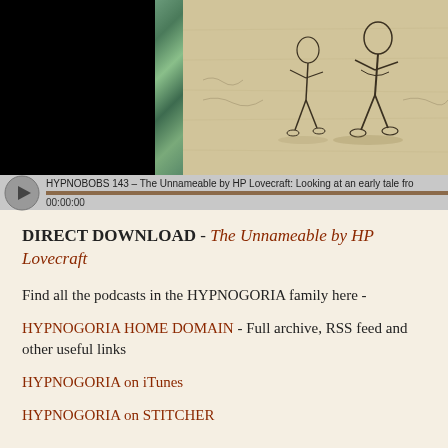[Figure (screenshot): Media player showing a podcast episode. Left side has a black video panel, center has a marble-textured green column, right shows a vintage illustration on aged paper background with figures. Below is a player bar with play button, episode title 'HYPNOBOBS 143 – The Unnameable by HP Lovecraft: Looking at an early tale fro', a progress bar, and timestamp 00:00:00.]
DIRECT DOWNLOAD -  The Unnameable by HP Lovecraft
Find all the podcasts in the HYPNOGORIA family here -
HYPNOGORIA HOME DOMAIN - Full archive, RSS feed and other useful links
HYPNOGORIA on iTunes
HYPNOGORIA on STITCHER